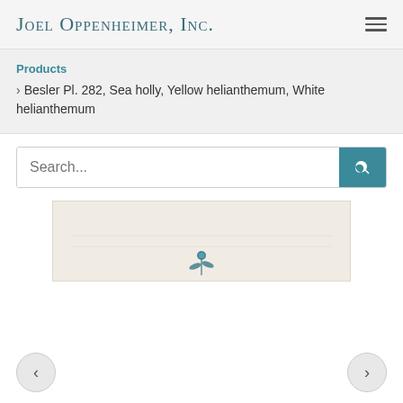Joel Oppenheimer, Inc.
Products > Besler Pl. 282, Sea holly, Yellow helianthemum, White helianthemum
Search...
[Figure (photo): Partial view of a botanical print showing plant illustrations on a cream/beige background, with a small blue botanical illustration visible at the bottom center.]